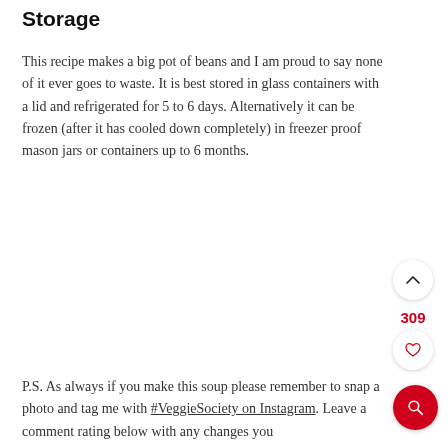Storage
This recipe makes a big pot of beans and I am proud to say none of it ever goes to waste. It is best stored in glass containers with a lid and refrigerated for 5 to 6 days. Alternatively it can be frozen (after it has cooled down completely) in freezer proof mason jars or containers up to 6 months.
P.S. As always if you make this soup please remember to snap a photo and tag me with #VeggieSociety on Instagram. Leave a comment rating below with any changes you